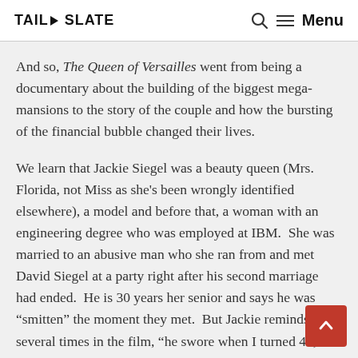TAIL SLATE | Menu
And so, The Queen of Versailles went from being a documentary about the building of the biggest mega-mansions to the story of the couple and how the bursting of the financial bubble changed their lives.
We learn that Jackie Siegel was a beauty queen (Mrs. Florida, not Miss as she's been wrongly identified elsewhere), a model and before that, a woman with an engineering degree who was employed at IBM.  She was married to an abusive man who she ran from and met David Siegel at a party right after his second marriage had ended.  He is 30 years her senior and says he was “smitten” the moment they met.  But Jackie reminds us several times in the film, “he swore when I turned 40, he’d trade me in for two 20s.”